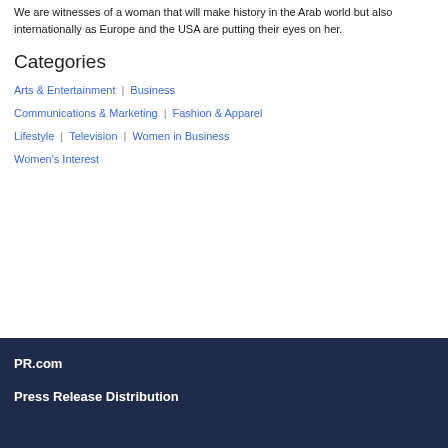We are witnesses of a woman that will make history in the Arab world but also internationally as Europe and the USA are putting their eyes on her.
Categories
Arts & Entertainment
Business
Communications & Marketing
Fashion & Apparel
Lifestyle
Television
Women in Business
Women's Interest
PR.com
Press Release Distribution